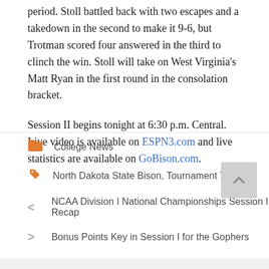period. Stoll battled back with two escapes and a takedown in the second to make it 9-6, but Trotman scored four answered in the third to clinch the win. Stoll will take on West Virginia's Matt Ryan in the first round in the consolation bracket.
Session II begins tonight at 6:30 p.m. Central. Live video is available on ESPN3.com and live statistics are available on GoBison.com.
College News
North Dakota State Bison, Tournament Time
NCAA Division I National Championships Session I Recap
Bonus Points Key in Session I for the Gophers